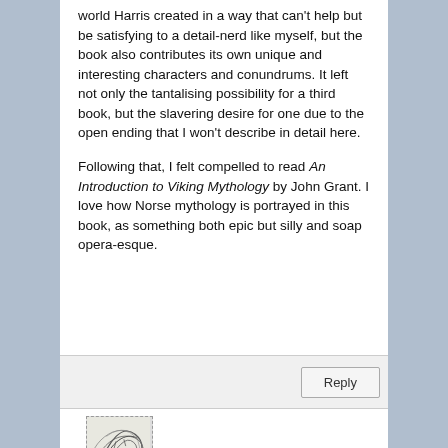world Harris created in a way that can't help but be satisfying to a detail-nerd like myself, but the book also contributes its own unique and interesting characters and conundrums. It left not only the tantalising possibility for a third book, but the slavering desire for one due to the open ending that I won't describe in detail here.
Following that, I felt compelled to read An Introduction to Viking Mythology by John Grant. I love how Norse mythology is portrayed in this book, as something both epic but silly and soap opera-esque.
[Figure (illustration): Small avatar illustration showing a sketch-like drawing, possibly of a person or artistic figure]